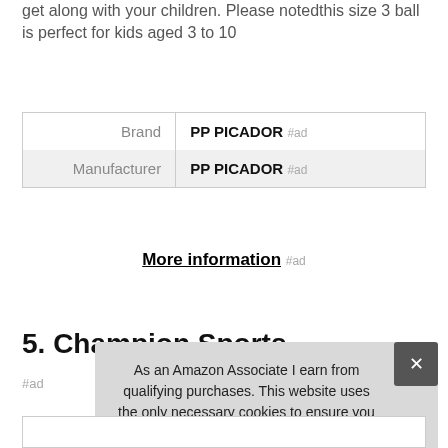get along with your children. Please notedthis size 3 ball is perfect for kids aged 3 to 10
| Brand | PP PICADOR #ad |
| Manufacturer | PP PICADOR #ad |
More information #ad
5. Champion Sports
#ad
As an Amazon Associate I earn from qualifying purchases. This website uses the only necessary cookies to ensure you get the best experience on our website. More information
×